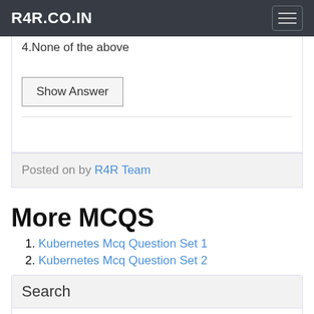R4R.CO.IN
4.None of the above
Show Answer
Posted on by R4R Team
More MCQS
1. Kubernetes Mcq Question Set 1
2. Kubernetes Mcq Question Set 2
Search
Search for...